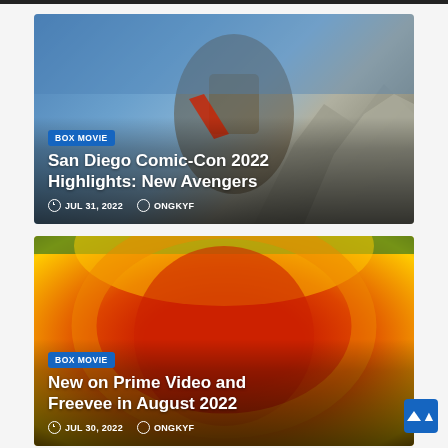[Figure (photo): Card 1: Background image of a robotic/Power Rangers style figure in front of rocky mountain with blue sky. Overlaid text card with BOX MOVIE badge, title 'San Diego Comic-Con 2022 Highlights: New Avengers', date JUL 31, 2022, author ONGKYF.]
San Diego Comic-Con 2022 Highlights: New Avengers
JUL 31, 2022   ONGKYF
[Figure (photo): Card 2: Background image with warm glowing red/orange/yellow gradient, resembling a Prime Video or movie poster background. Overlaid text card with BOX MOVIE badge, title 'New on Prime Video and Freevee in August 2022', date JUL 30, 2022, author ONGKYF.]
New on Prime Video and Freevee in August 2022
JUL 30, 2022   ONGKYF